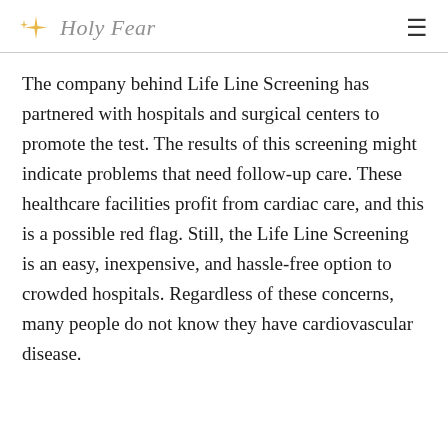Holy Fear
The company behind Life Line Screening has partnered with hospitals and surgical centers to promote the test. The results of this screening might indicate problems that need follow-up care. These healthcare facilities profit from cardiac care, and this is a possible red flag. Still, the Life Line Screening is an easy, inexpensive, and hassle-free option to crowded hospitals. Regardless of these concerns, many people do not know they have cardiovascular disease.